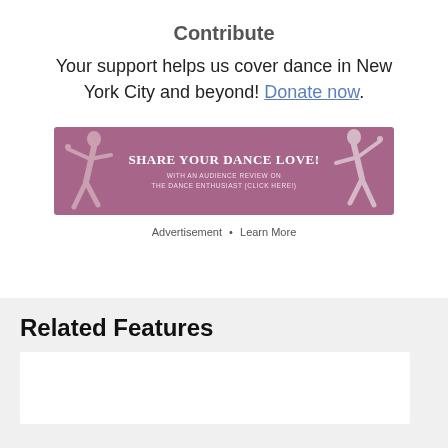Contribute
Your support helps us cover dance in New York City and beyond! Donate now.
[Figure (infographic): Advertisement banner with pink/mauve background showing two dancers and text: SHARE YOUR DANCE LOVE! WITH AN AUDIENCE REVIEW ON THE DANCE ENTHUSIAST (CLICK HERE!)]
Advertisement • Learn More
Related Features